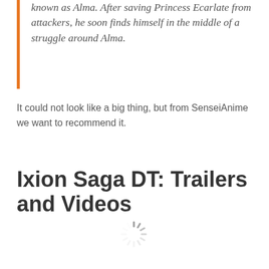known as Alma. After saving Princess Ecarlate from attackers, he soon finds himself in the middle of a struggle around Alma.
It could not look like a big thing, but from SenseiAnime we want to recommend it.
Ixion Saga DT: Trailers and Videos
[Figure (other): Loading spinner icon]